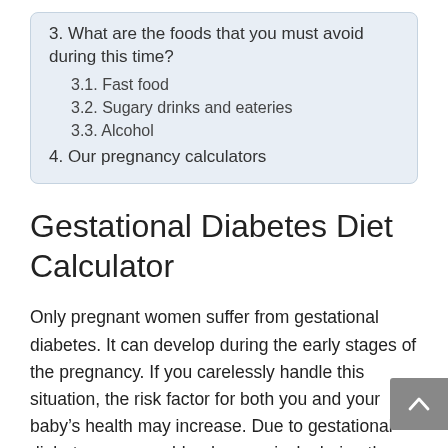3. What are the foods that you must avoid during this time?
3.1. Fast food
3.2. Sugary drinks and eateries
3.3. Alcohol
4. Our pregnancy calculators
Gestational Diabetes Diet Calculator
Only pregnant women suffer from gestational diabetes. It can develop during the early stages of the pregnancy. If you carelessly handle this situation, the risk factor for both you and your baby’s health may increase. Due to gestational diabetes, you can bleed excessively during the time of delivery. A gestational diabetes diet calculator is a very helpful tool for keeping track